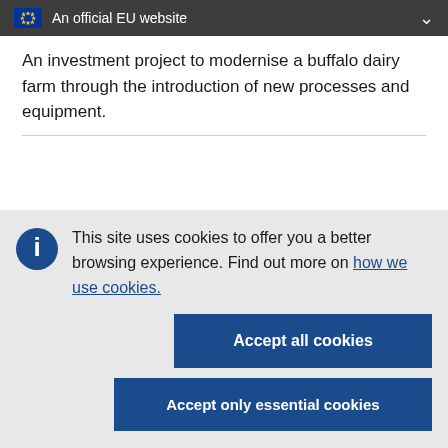An official EU website
An investment project to modernise a buffalo dairy farm through the introduction of new processes and equipment.
This site uses cookies to offer you a better browsing experience. Find out more on how we use cookies.
Accept all cookies
Accept only essential cookies